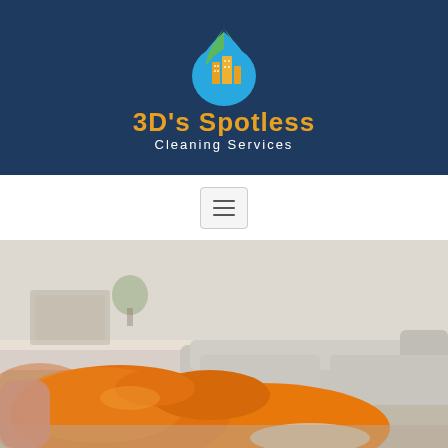[Figure (logo): 3D's Spotless Cleaning Services logo on dark navy blue header background. Logo features a water droplet shape with green leaf and blue water elements and an orange building/city icon inside, with company name in orange and white text.]
[Figure (other): Hamburger menu button (three horizontal lines) in a rounded rectangle border on white navigation bar.]
[Figure (photo): Photo of a person wearing orange rubber cleaning gloves, cleaning a light grey sofa/couch in a bright living room. Blurred background shows furniture and plants.]